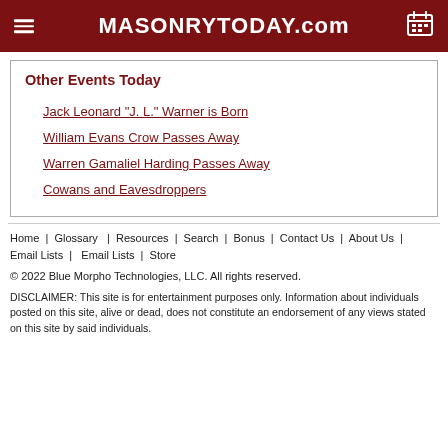MASONRYTODAY.com
Other Events Today
Jack Leonard "J. L." Warner is Born
William Evans Crow Passes Away
Warren Gamaliel Harding Passes Away
Cowans and Eavesdroppers
Home | Glossary | Resources | Search | Bonus | Contact Us | About Us | Email Lists | Email Lists | Store
© 2022 Blue Morpho Technologies, LLC. All rights reserved.
DISCLAIMER: This site is for entertainment purposes only. Information about individuals posted on this site, alive or dead, does not constitute an endorsement of any views stated on this site by said individuals.